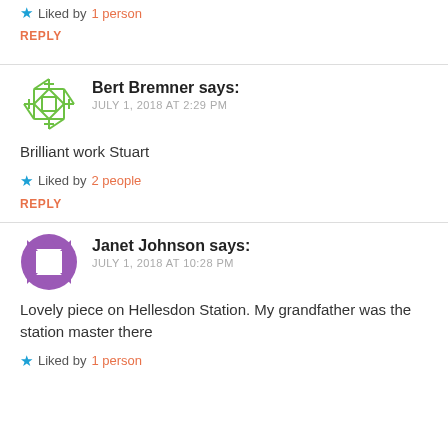★ Liked by 1 person
REPLY
Bert Bremner says:
JULY 1, 2018 AT 2:29 PM
Brilliant work Stuart
★ Liked by 2 people
REPLY
Janet Johnson says:
JULY 1, 2018 AT 10:28 PM
Lovely piece on Hellesdon Station. My grandfather was the station master there
★ Liked by 1 person